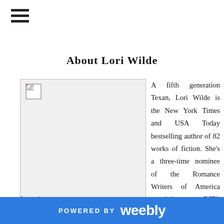≡
About Lori Wilde
[Figure (photo): Placeholder image for Lori Wilde author photo (broken/unloaded image icon)]
A fifth generation Texan, Lori Wilde is the New York Times and USA Today bestselling author of 82 works of fiction. She's a three-time nominee of the Romance Writers of America prestigious RITA award and has won numerous other awards. She holds a bachelor's degree in nursing from Texas Christian University, and a certificate in forensics.
POWERED BY weebly